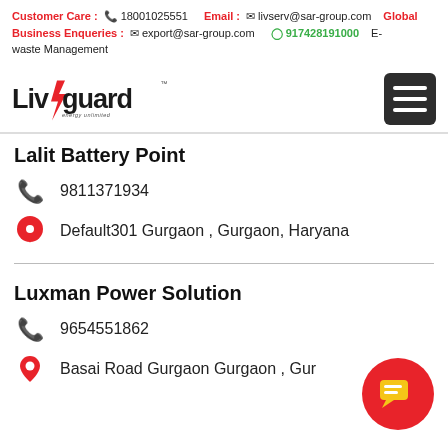Customer Care : 18001025551  Email : livserv@sar-group.com  Global Business Enqueries : export@sar-group.com  917428191000  E-waste Management
[Figure (logo): Livguard energy unlimited logo in black and red, with hamburger menu icon on the right]
Lalit Battery Point
9811371934
Default301 Gurgaon , Gurgaon, Haryana
Luxman Power Solution
9654551862
Basai Road Gurgaon Gurgaon , Gur...